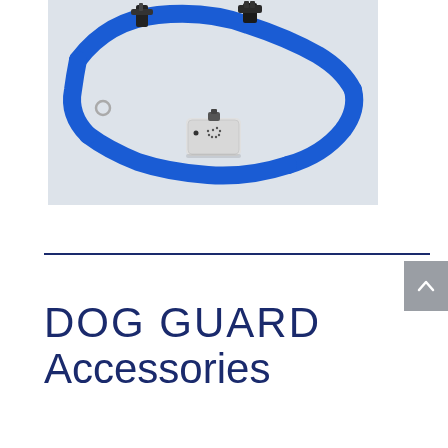[Figure (photo): A dog training collar with a bright blue nylon strap and a white electronic device/receiver box in the center. Black plastic buckles and adjustment hardware are visible on the strap. The collar is photographed on a white background.]
DOG GUARD Accessories